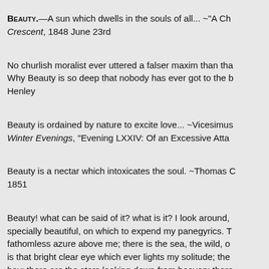Beauty.—A sun which dwells in the souls of all... ~"A Ch... Crescent, 1848 June 23rd
No churlish moralist ever uttered a falser maxim than tha... Why Beauty is so deep that nobody has ever got to the b... Henley
Beauty is ordained by nature to excite love... ~Vicesimus... Winter Evenings, "Evening LXXIV: Of an Excessive Atta...
Beauty is a nectar which intoxicates the soul. ~Thomas C... 1851
Beauty! what can be said of it? what is it? I look around,... specially beautiful, on which to expend my panegyrics. T... fathomless azure above me; there is the sea, the wild, o... is that bright clear eye which ever lights my solitude; the... boy; there are the stars looking down from heaven; there... countenance, beauty in looks, beauty in thoughts, beaut... say! I am bewildered; beauty overwhelms me. I am dum... oratory of an archangel. I am lost in the magnitude of m...